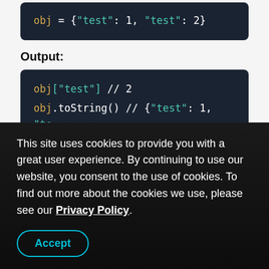[Figure (screenshot): Code block showing: obj = {"test": 1, "test": 2}]
Output:
[Figure (screenshot): Code block showing output: obj["test"] // 2 and obj.toString() // {"test": 1, "te]
In these cases, reserializing parsed
This site uses cookies to provide you with a great user experience. By continuing to use our website, you consent to the use of cookies. To find out more about the cookies we use, please see our Privacy Policy.
Accept